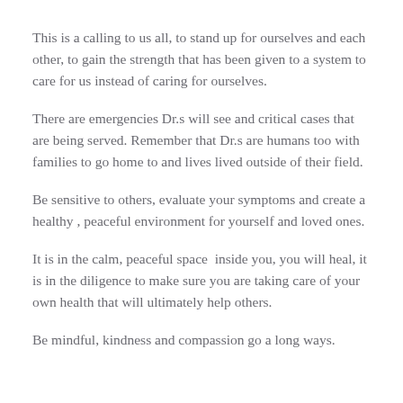This is a calling to us all, to stand up for ourselves and each other, to gain the strength that has been given to a system to care for us instead of caring for ourselves.
There are emergencies Dr.s will see and critical cases that are being served. Remember that Dr.s are humans too with families to go home to and lives lived outside of their field.
Be sensitive to others, evaluate your symptoms and create a healthy , peaceful environment for yourself and loved ones.
It is in the calm, peaceful space  inside you, you will heal, it is in the diligence to make sure you are taking care of your own health that will ultimately help others.
Be mindful, kindness and compassion go a long ways.